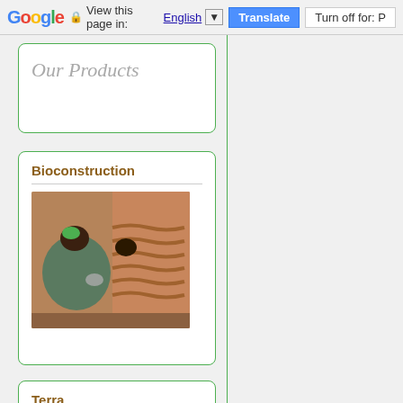Google  View this page in: English [▼]  Translate  Turn off for: P
Our Products
Bioconstruction
[Figure (photo): A person working on a large decorative terracotta clay pot with wave/ripple relief patterns, photographed from close up.]
Terra
[Figure (logo): Bolsa de terras logo: brown text 'BOLSA de terras' with a green tree made of circles on a trunk.]